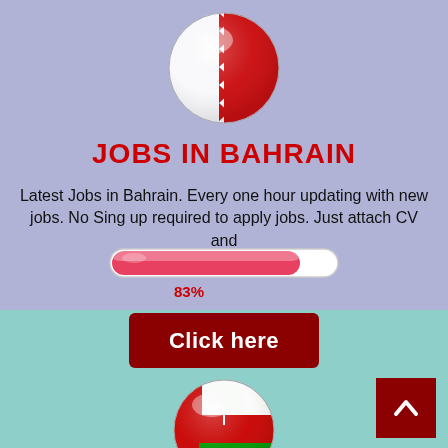[Figure (illustration): Bahrain flag as a glossy 3D sphere/ball with red and white sections]
JOBS IN BAHRAIN
Latest Jobs in Bahrain. Every one hour updating with new jobs. No Sing up required to apply jobs. Just attach CV and
[Figure (infographic): A progress bar at 83% filled in red/pink on a white pill-shaped background]
83%
[Figure (illustration): Click here button — dark red rectangle with white bold text]
[Figure (illustration): Oman flag as a glossy 3D sphere/ball with red, white, and green sections and emblem]
[Figure (illustration): Dark red back/up arrow button in bottom right corner]